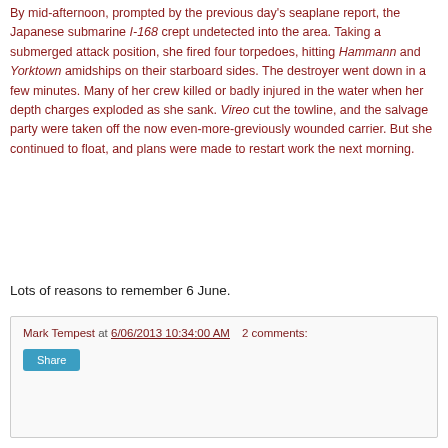By mid-afternoon, prompted by the previous day's seaplane report, the Japanese submarine I-168 crept undetected into the area. Taking a submerged attack position, she fired four torpedoes, hitting Hammann and Yorktown amidships on their starboard sides. The destroyer went down in a few minutes. Many of her crew killed or badly injured in the water when her depth charges exploded as she sank. Vireo cut the towline, and the salvage party were taken off the now even-more-greviously wounded carrier. But she continued to float, and plans were made to restart work the next morning.
Lots of reasons to remember 6 June.
Mark Tempest at 6/06/2013 10:34:00 AM   2 comments:
Share